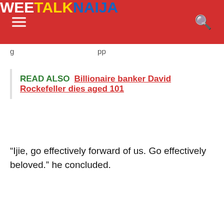WEETALK NAIJA
…g… …pp…
READ ALSO  Billionaire banker David Rockefeller dies aged 101
“Ijie, go effectively forward of us. Go effectively beloved.” he concluded.